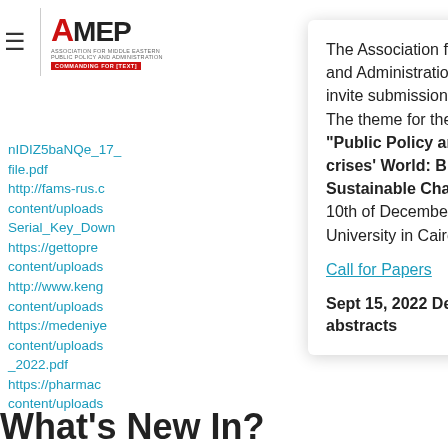[Figure (logo): AMEPPA logo with hamburger menu icon and vertical divider]
nIDIZ5baNQe_17_
file.pdf
http://fams-rus.c
content/uploads
Serial_Key_Down
https://gettopre
content/uploads
http://www.keng
content/uploads
https://medeniye
content/uploads
_2022.pdf
https://pharmac
content/uploads
The Association for Middle Eastern Public Policy and Administration (AMEPPA) is pleased to invite submissions for its annual conference. The theme for the 2022 conference is entitled: “Public Policy and Administration in a ‘Poly-crises’ World: Building Pathways for Sustainable Change” to be held on the 9th and 10th of December 2022 at the American University in Cairo, Egypt.
Call for Papers
Sept 15, 2022 Deadline for submitting abstracts
What’s New In?